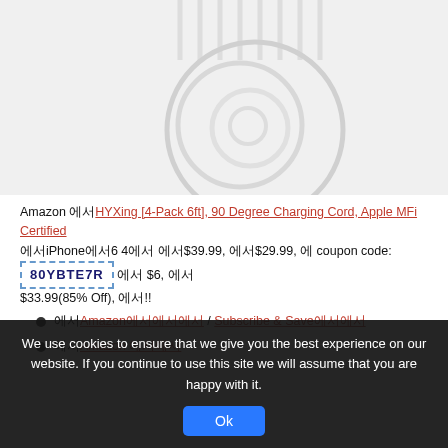[Figure (photo): White coiled/looped iPhone charging cables (4-pack) arranged in overlapping circles on white background]
Amazon 에서HYXing [4-Pack 6ft], 90 Degree Charging Cord, Apple MFi Certified 에서iPhone에서6 4에서 에서$39.99, 에서$29.99, 에 coupon code: 80YBTE7R 에서 $6, 에서 $33.99(85% Off), 에서!!
에서Amazon에서에서에서 / Subscribe & Save에서에서
에서Amazon 에서에서
We use cookies to ensure that we give you the best experience on our website. If you continue to use this site we will assume that you are happy with it.